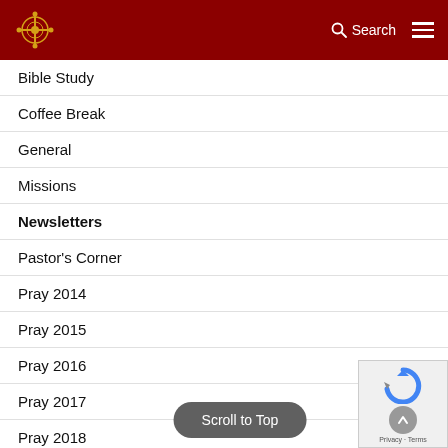Search
Bible Study
Coffee Break
General
Missions
Newsletters
Pastor's Corner
Pray 2014
Pray 2015
Pray 2016
Pray 2017
Pray 2018
Pray 2019
Pray 2020
Scroll to Top